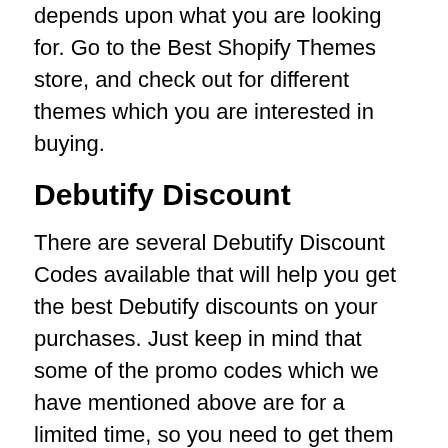depends upon what you are looking for. Go to the Best Shopify Themes store, and check out for different themes which you are interested in buying.
Debutify Discount
There are several Debutify Discount Codes available that will help you get the best Debutify discounts on your purchases. Just keep in mind that some of the promo codes which we have mentioned above are for a limited time, so you need to get them soon.
Debutify Review
It is one of the best Shopify themes, easy to